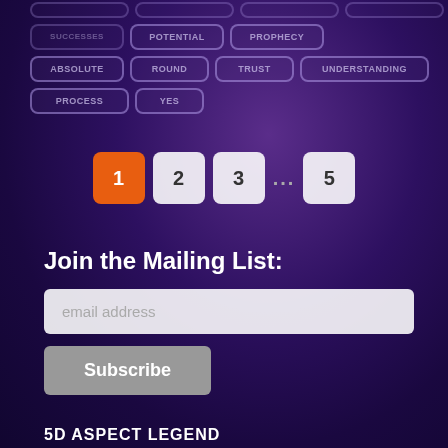[Figure (screenshot): Grid of tag/category buttons with rounded rectangle borders on purple background. Row 1 (partial, cut off at top): partially visible buttons. Row 2: SUCCESSES, POTENTIAL, PROPHECY. Row 3: ABSOLUTE, ROUND, TRUST, UNDERSTANDING. Row 4: PROCESS, YES (partial buttons).]
1  2  3  ...  5
Join the Mailing List:
email address
Subscribe
5D ASPECT LEGEND